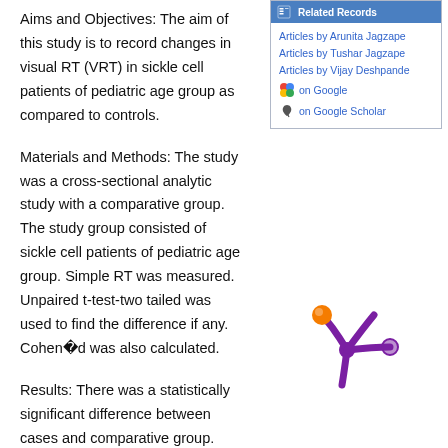Aims and Objectives: The aim of this study is to record changes in visual RT (VRT) in sickle cell patients of pediatric age group as compared to controls.
Materials and Methods: The study was a cross-sectional analytic study with a comparative group. The study group consisted of sickle cell patients of pediatric age group. Simple RT was measured. Unpaired t-test-two tailed was used to find the difference if any. Cohenÿd was also calculated.
Results: There was a statistically significant difference between cases and comparative group. Mean ± standard deviation (SD) of controls was 0.58 ± 0.12, whereas mean of ± SD of cases was 0.85 ± 0.30. Cohenÿs d was 1.16.
Related Records
Articles by Arunita Jagzape
Articles by Tushar Jagzape
Articles by Vijay Deshpande
on Google
on Google Scholar
[Figure (logo): Purple and orange jellyfish/asterisk logo mark]